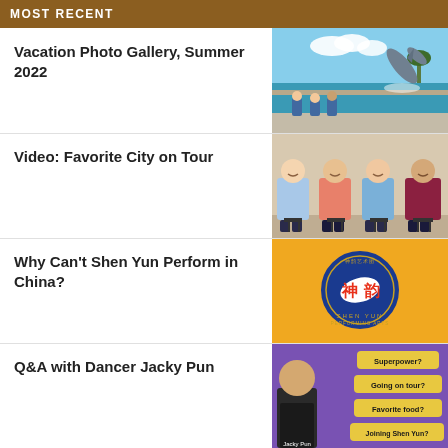MOST RECENT
Vacation Photo Gallery, Summer 2022
[Figure (photo): Dolphin jumping out of water at a marine park, with people sitting and watching in the background]
Video: Favorite City on Tour
[Figure (photo): Four female dancers seated in a row wearing colorful long-sleeve tops, smiling at camera]
Why Can't Shen Yun Perform in China?
[Figure (logo): Shen Yun Performing Arts circular logo on yellow/gold background with Chinese characters]
Q&A with Dancer Jacky Pun
[Figure (photo): Dancer Jacky Pun on purple background with question cards: Superpower?, Going on tour?, Favorite food?, Joining Shen Yun?]